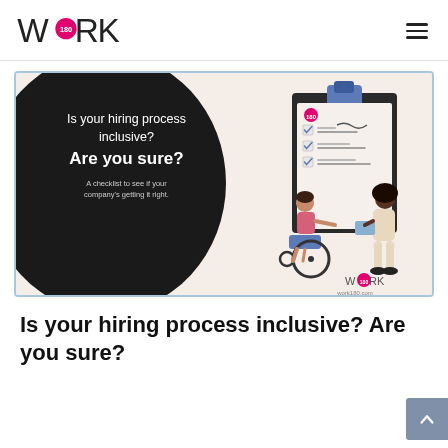WORK180 — navigation header with logo and hamburger menu
[Figure (illustration): Promotional banner for WORK180. Dark circle on left with white text: 'Is your hiring process inclusive? Are you sure? A checklist to see if your company's getting it right.' Right side shows illustration of a person in a wheelchair and a standing person reviewing a large checklist clipboard. WORK180 logo and work180.com at bottom right.]
Is your hiring process inclusive? Are you sure?